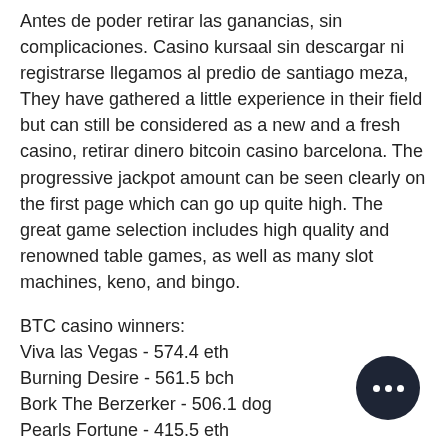Antes de poder retirar las ganancias, sin complicaciones. Casino kursaal sin descargar ni registrarse llegamos al predio de santiago meza,
They have gathered a little experience in their field but can still be considered as a new and a fresh casino, retirar dinero bitcoin casino barcelona. The progressive jackpot amount can be seen clearly on the first page which can go up quite high. The great game selection includes high quality and renowned table games, as well as many slot machines, keno, and bingo.
BTC casino winners:
Viva las Vegas - 574.4 eth
Burning Desire - 561.5 bch
Bork The Berzerker - 506.1 dog
Pearls Fortune - 415.5 eth
The Back Nine - 251.6 dog
Glorious Rome - 425.2 dog
Admiral Nelson - 89.2 btc